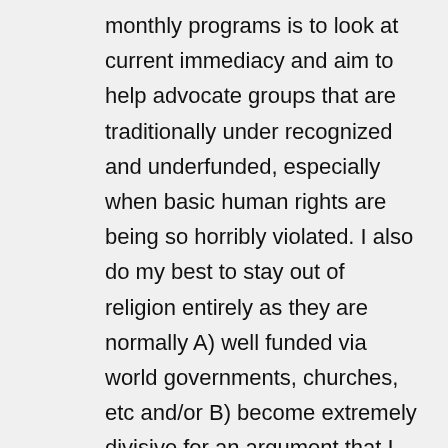monthly programs is to look at current immediacy and aim to help advocate groups that are traditionally under recognized and underfunded, especially when basic human rights are being so horribly violated. I also do my best to stay out of religion entirely as they are normally A) well funded via world governments, churches, etc and/or B) become extremely divisive for an argument that I see as having no easy answer. I believe in all religions and the ability for those of their faith to practice those religions in peace. Obviously there are many on all sides that don't practice their own religion in peace which is part of a horrible human reality on